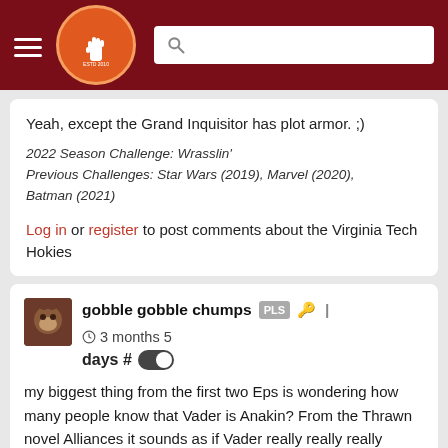The Key Play - site header with logo and search bar
Yeah, except the Grand Inquisitor has plot armor. ;)
2022 Season Challenge: Wrasslin'
Previous Challenges: Star Wars (2019), Marvel (2020), Batman (2021)
Log in or register to post comments about the Virginia Tech Hokies
gobble gobble chumps PLS | 3 months 5 days #
my biggest thing from the first two Eps is wondering how many people know that Vader is Anakin? From the Thrawn novel Alliances it sounds as if Vader really really really wants to reduce people having that knowledge.